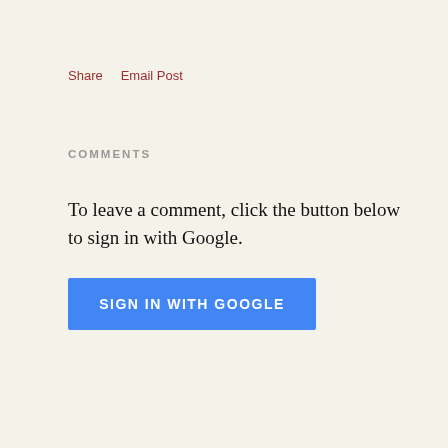Share   Email Post
COMMENTS
To leave a comment, click the button below to sign in with Google.
[Figure (screenshot): Blue button labeled SIGN IN WITH GOOGLE]